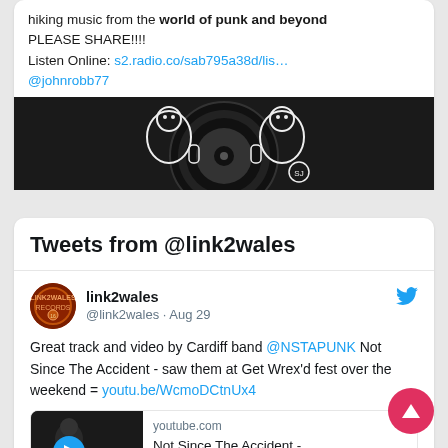hiking music from the world of punk and beyond PLEASE SHARE!!!! Listen Online: s2.radio.co/sab795a38d/lis… @johnrobb77
[Figure (illustration): Black and white vinyl record illustration with cartoon character figures holding a record]
Tweets from @link2wales
link2wales @link2wales · Aug 29
Great track and video by Cardiff band @NSTAPUNK Not Since The Accident - saw them at Get Wrex'd fest over the weekend = youtu.be/WcmoDCtnUx4
[Figure (screenshot): YouTube video preview card showing youtube.com domain and title 'Not Since The Accident - Reform And Maintain' with play button thumbnail]